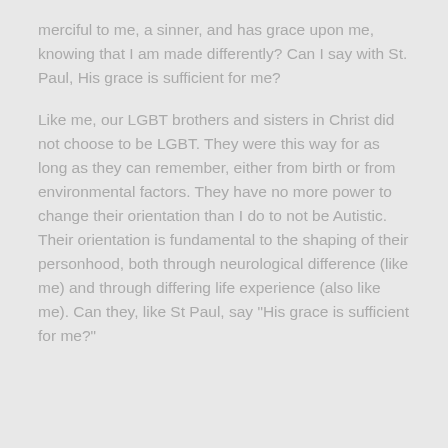merciful to me, a sinner, and has grace upon me, knowing that I am made differently? Can I say with St. Paul, His grace is sufficient for me?
Like me, our LGBT brothers and sisters in Christ did not choose to be LGBT. They were this way for as long as they can remember, either from birth or from environmental factors. They have no more power to change their orientation than I do to not be Autistic. Their orientation is fundamental to the shaping of their personhood, both through neurological difference (like me) and through differing life experience (also like me). Can they, like St Paul, say "His grace is sufficient for me?"